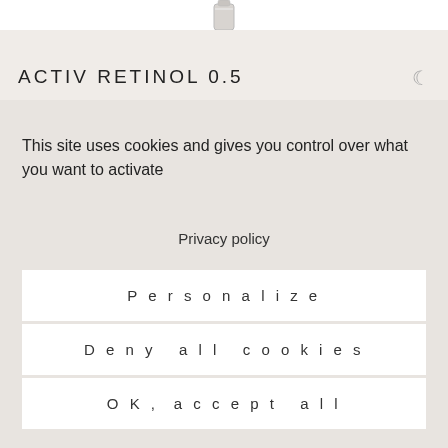[Figure (photo): Partial view of a skincare product bottle at the top of the page]
ACTIV RETINOL 0.5
This site uses cookies and gives you control over what you want to activate
Privacy policy
Personalize
Deny all cookies
OK, accept all